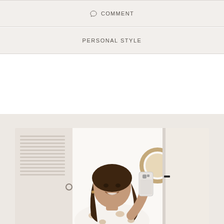COMMENT
PERSONAL STYLE
[Figure (photo): Mirror selfie of a young woman with long brunette hair, wearing a white and tan leopard print sweater, holding an iPhone with a clear case, smiling. Background shows a white room with louvered shutters, a round wicker mirror, and a door with black hardware.]